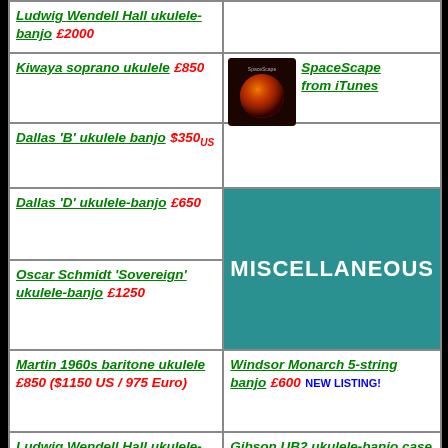Ludwig Wendell Hall ukulele-banjo £2000
Kiwaya soprano ukulele £850
[Figure (other): SpaceScape album cover from iTunes — dark background with orange/red planet graphic]
Dallas 'B' ukulele banjo $350us
Dallas 'D' ukulele-banjo £650
MISCELLANEOUS
Oscar Schmidt 'Sovereign' ukulele-banjo £1250
Martin 1960s baritone ukulele £850 ($1150 US / 975 Euro)
Windsor Monarch 5-string banjo £600 NEW LISTING!
Ludwig Wendell Hall ukulele-banjo $1950us
Gibson UB2 ukulele-banjo case £20 SOLD!
No-name ukulele-banjo £150
Banjolele Christmas cards PACK OF TEN £4.95